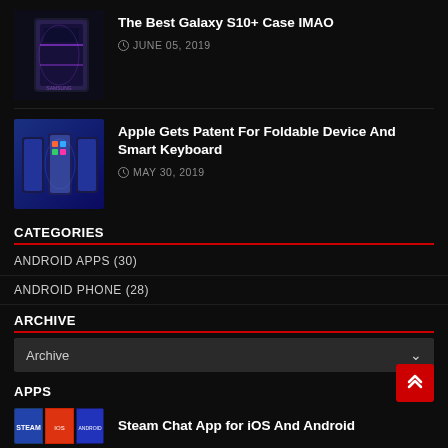[Figure (photo): Galaxy S10+ phone case thumbnail – dark background with purple accents]
The Best Galaxy S10+ Case IMAO
JUNE 05, 2019
[Figure (photo): Foldable phone device on blue background showing multiple screens]
Apple Gets Patent For Foldable Device And Smart Keyboard
MAY 30, 2019
CATEGORIES
ANDROID APPS  (30)
ANDROID PHONE  (28)
ARCHIVE
Archive
APPS
[Figure (screenshot): Steam Chat App thumbnail – small blue banner image]
Steam Chat App for iOS And Android